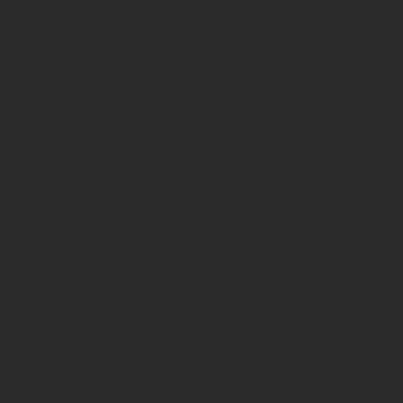Grab My Button
[Figure (illustration): Blog button image for 'my heart, His Words' blog by Tammy Nischan. Shows two red hearts over open Bible pages with decorative script text reading 'my heart, His Words' and website URL www.TammyNischan.com at the bottom.]
<a href='http://www.tammynischan.com' target='_blank' rel='noopener'><img alt='My-Heart-His-Words' src='http://www.tammynisc
Topics